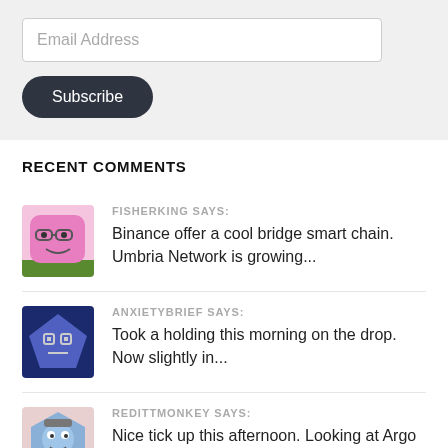Email Address
Subscribe
RECENT COMMENTS
FISHERKING SAYS:
Binance offer a cool bridge smart chain. Umbria Network is growing...
ANXIETYBRIEF SAYS:
Took a holding this morning on the drop. Now slightly in...
REDITTMONKEY SAYS:
Nice tick up this afternoon. Looking at Argo Blockchain comparison to...